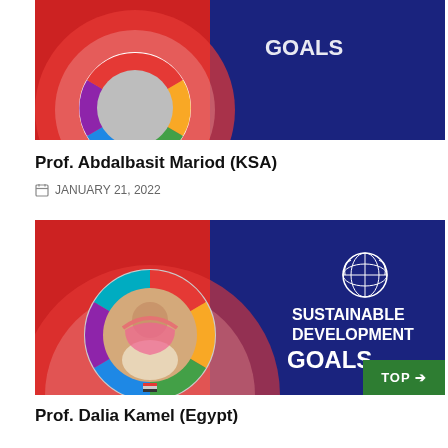[Figure (photo): Partially visible banner image with red and blue background, colorful SDG wheel icon, partially cropped at top]
Prof. Abdalbasit Mariod (KSA)
JANUARY 21, 2022
[Figure (photo): Banner image with red and blue background showing a woman in hijab in a circular SDG wheel frame, with UN Sustainable Development Goals logo and text on the right side]
Prof. Dalia Kamel (Egypt)